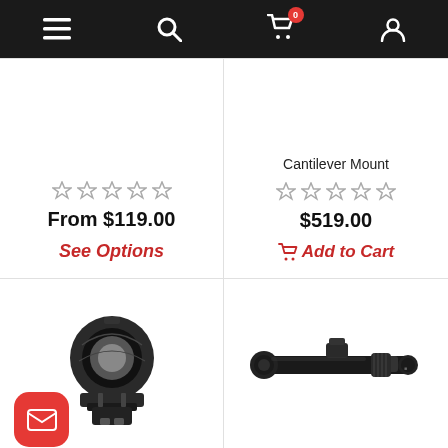Navigation bar with menu, search, cart (0 items), and account icons
From $119.00
See Options
Cantilever Mount
$519.00
Add to Cart
[Figure (photo): Vortex Tactical 30mm ring mount, black anodized aluminum, shown from front-right angle]
Vortex Tactical 30mm Ring
[Figure (photo): Steiner T5XI 5-25x56 SCR rifle scope, black, elongated tube with adjustment turrets]
Steiner T5XI 5-25x56 SCR